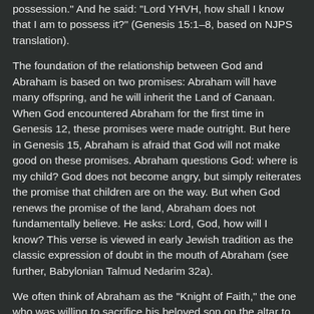possession." And he said: "Lord YHVH, how shall I know that I am to possess it?" (Genesis 15:1–8, based on NJPS translation).
The foundation of the relationship between God and Abraham is based on two promises: Abraham will have many offspring, and he will inherit the Land of Canaan. When God encountered Abraham for the first time in Genesis 12, these promises were made outright. But here in Genesis 15, Abraham is afraid that God will not make good on these promises. Abraham questions God: where is my child? God does not become angry, but simply reiterates the promise that children are on the way. But when God renews the promise of the land, Abraham does not fundamentally believe. He asks: Lord, God, how will I know? This verse is viewed in early Jewish tradition as the classic expression of doubt in the mouth of Abraham (see further, Babylonian Talmud Nedarim 32a).
We often think of Abraham as the "Knight of Faith," the one who was willing to sacrifice his beloved son on the altar to fulfill God's word. However the conclusion of the Amidah...